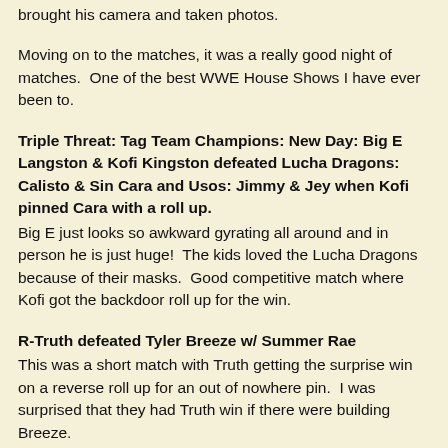brought his camera and taken photos.
Moving on to the matches, it was a really good night of matches.  One of the best WWE House Shows I have ever been to.
Triple Threat: Tag Team Champions: New Day: Big E Langston & Kofi Kingston defeated Lucha Dragons: Calisto & Sin Cara and Usos: Jimmy & Jey when Kofi pinned Cara with a roll up.
Big E just looks so awkward gyrating all around and in person he is just huge!  The kids loved the Lucha Dragons because of their masks.  Good competitive match where Kofi got the backdoor roll up for the win.
R-Truth defeated Tyler Breeze w/ Summer Rae
This was a short match with Truth getting the surprise win on a reverse roll up for an out of nowhere pin.  I was surprised that they had Truth win if there were building Breeze.
Goldust pinned Bo Dallas w/ final cut
I was quite excited to see Goldust on the card. I'm a big fan